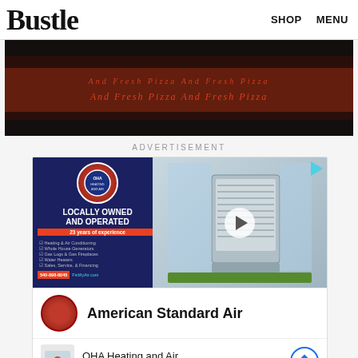Bustle   SHOP   MENU
[Figure (photo): Dark background pizza packaging with red script text reading 'And Fresh Pizza' repeated]
ADVERTISEMENT
[Figure (infographic): OHA Heating and Air advertisement video thumbnail. Shows LOCALLY OWNED AND OPERATED, 23 years of experience. Services: Heating & Air Conditioning, Whole House Generators, Gas Logs & Gas Fireplaces, Water Heaters, Sales Service & Financing. Phone: 540-898-8045, FixMyAir.com. With HVAC unit photo on right and play button.]
American Standard Air
OHA Heating and Air
Chantilly